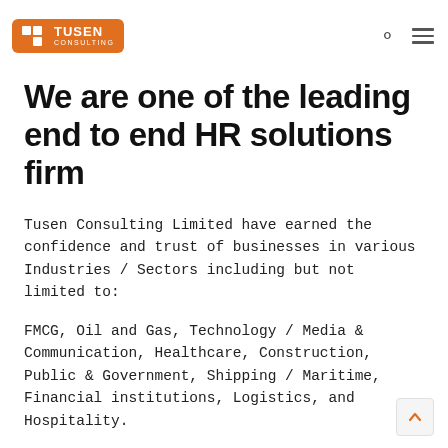Tusen Consulting
We are one of the leading end to end HR solutions firm
Tusen Consulting Limited have earned the confidence and trust of businesses in various Industries / Sectors including but not limited to:
FMCG, Oil and Gas, Technology / Media & Communication, Healthcare, Construction, Public & Government, Shipping / Maritime, Financial institutions, Logistics, and Hospitality.
From factory floor to executive suite, we deliver the human resources powering today’s flexible and perma workforce.